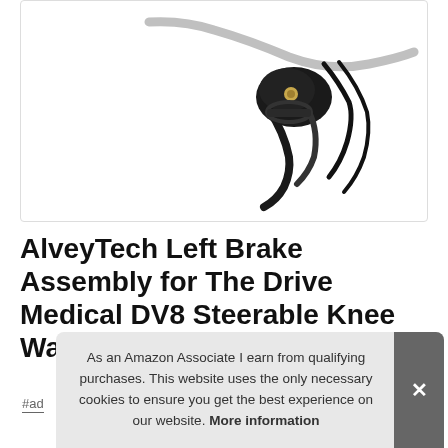[Figure (photo): Product photo of AlveyTech Left Brake Assembly — a bicycle brake lever with black and silver components and cables, shown on white background with border]
AlveyTech Left Brake Assembly for The Drive Medical DV8 Steerable Knee Wa…
#ad
As an Amazon Associate I earn from qualifying purchases. This website uses the only necessary cookies to ensure you get the best experience on our website. More information